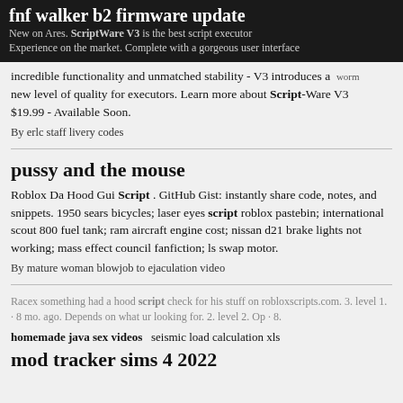fnf walker b2 firmware update
New on Ares. ScriptWare V3 is the best script executor experience on the market. Complete with a gorgeous user interface, incredible functionality and unmatched stability - V3 introduces a new level of quality for executors. Learn more about Script-Ware V3 $19.99 - Available Soon.
By erlc staff livery codes
pussy and the mouse
Roblox Da Hood Gui Script . GitHub Gist: instantly share code, notes, and snippets. 1950 sears bicycles; laser eyes script roblox pastebin; international scout 800 fuel tank; ram aircraft engine cost; nissan d21 brake lights not working; mass effect council fanfiction; ls swap motor.
By mature woman blowjob to ejaculation video
Racex something had a hood script check for his stuff on robloxscripts.com. 3. level 1. · 8 mo. ago. Depends on what ur looking for. 2. level 2. Op · 8.
homemade java sex videos   seismic load calculation xls
mod tracker sims 4 2022